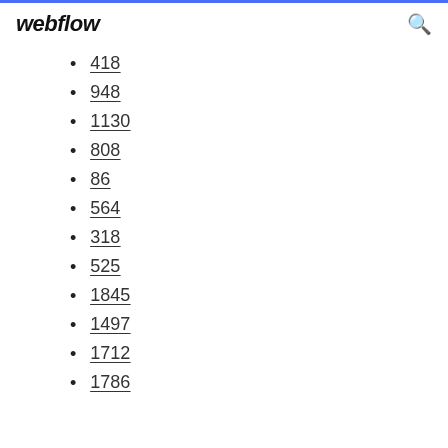webflow
418
948
1130
808
86
564
318
525
1845
1497
1712
1786